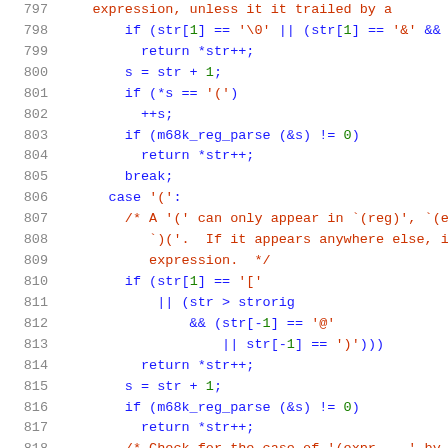[Figure (screenshot): Source code listing showing lines 797-818 of a C file, syntax-highlighted with line numbers in gray, keywords/code in blue, comments in red/dark orange, and numeric literals in green. The code handles parsing of expressions including register parsing and parenthesized expressions.]